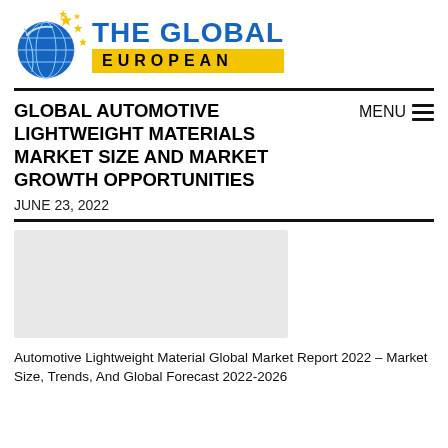[Figure (logo): The Global European logo with globe graphic and text]
GLOBAL AUTOMOTIVE LIGHTWEIGHT MATERIALS MARKET SIZE AND MARKET GROWTH OPPORTUNITIES
JUNE 23, 2022
[Figure (photo): Blurred/redacted placeholder image area]
Automotive Lightweight Material Global Market Report 2022 – Market Size, Trends, And Global Forecast 2022-2026